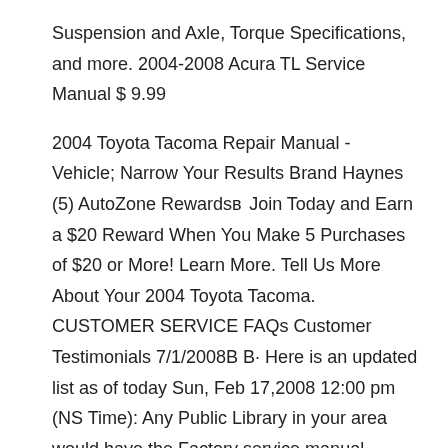Suspension and Axle, Torque Specifications, and more. 2004-2008 Acura TL Service Manual $ 9.99
2004 Toyota Tacoma Repair Manual - Vehicle; Narrow Your Results Brand Haynes (5) AutoZone Rewardsв‚  Join Today and Earn a $20 Reward When You Make 5 Purchases of $20 or More! Learn More. Tell Us More About Your 2004 Toyota Tacoma. CUSTOMER SERVICE FAQs Customer Testimonials 7/1/2008В В· Here is an updated list as of today Sun, Feb 17,2008 12:00 pm (NS Time): Any Public Library in your area would have the Factory service manual, Haynes, Chiltons, Mitchells, Clymers, Bentley and Toyota repair books.
7/5/2008В В· Toyota Tacoma 2005 - 2006 Service Manual; 1995 Toyota Supra Engine Repair Manual; Toyota Prius 2004 - 2007 User Manual; Toyota Camry 1994 Service Manual; Toyota MR2 1991 Service Manual; Toyota Corolla 1983